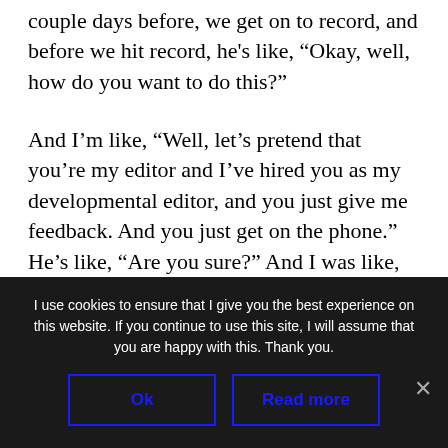couple days before, we get on to record, and before we hit record, he's like, “Okay, well, how do you want to do this?”
And I’m like, “Well, let’s pretend that you’re my editor and I’ve hired you as my developmental editor, and you just give me feedback. And you just get on the phone.” He’s like, “Are you sure?” And I was like, “Yeah, just hit me with it. It’s just for an hour.” He’s like, “Well, this was wrong. And here’s why.” And just ripped it to shreds. And I’m
I use cookies to ensure that I give you the best experience on this website. If you continue to use this site, I will assume that you are happy with this. Thank you.